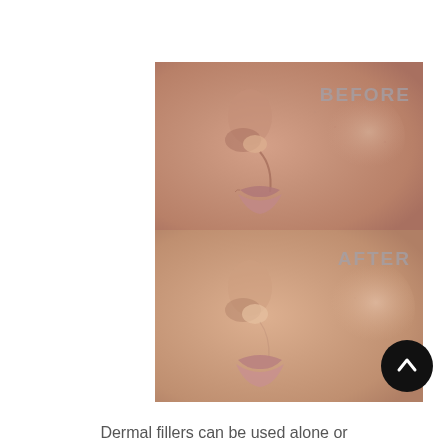[Figure (photo): Before-and-after comparison photos showing a person's lower face (nose, cheeks, lips area). Top image labeled 'BEFORE' shows the face with more visible nasolabial folds and lip lines. Bottom image labeled 'AFTER' shows smoother skin and fuller appearance after dermal filler treatment. A black circular scroll-up button overlays the bottom-right corner of the after image.]
Dermal fillers can be used alone or